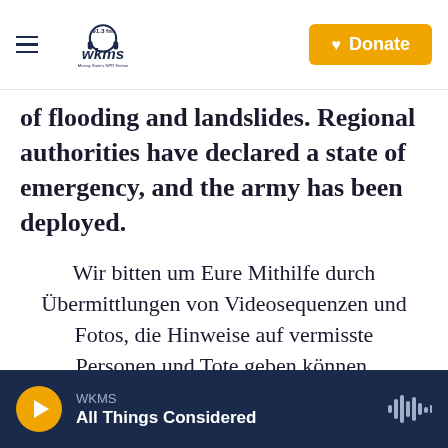WKMS 91.3 FM — Murray State's NPR Station | Donate
of flooding and landslides. Regional authorities have declared a state of emergency, and the army has been deployed.
Wir bitten um Eure Mithilfe durch Übermittlungen von Videosequenzen und Fotos, die Hinweise auf vermisste Personen und Tote geben können.
Die Videodateien und Fotos können hier hochgeladen werden: https://t.co/1COew6gtt8#Hochwa
WKMS — All Things Considered